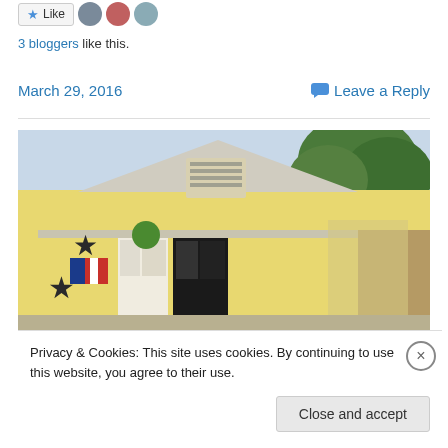Like  [avatars] 3 bloggers like this.
March 29, 2016    Leave a Reply
[Figure (photo): Photo of a yellow house exterior with black star decorations, a porch area, dark front door, and trees visible in the background.]
Privacy & Cookies: This site uses cookies. By continuing to use this website, you agree to their use.
To find out more, including how to control cookies, see here: Cookie Policy
Close and accept